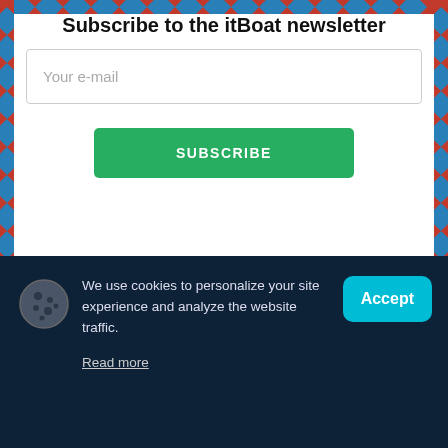Subscribe to the itBoat newsletter
Your e-mail
SUBSCRIBE
[Figure (illustration): Envelope icon outline in light gray]
We use cookies to personalize your site experience and analyze the website traffic.
Accept
Read more